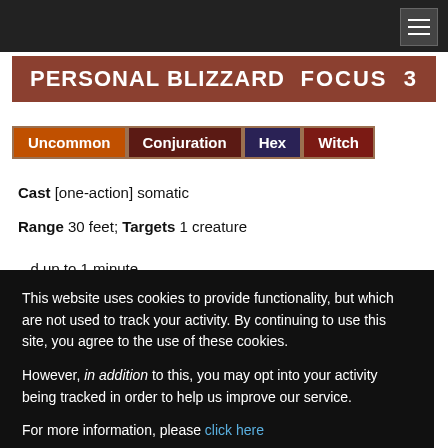PERSONAL BLIZZARD   FOCUS 3
Uncommon  Conjuration  Hex  Witch
Cast [one-action] somatic
Range 30 feet; Targets 1 creature
...d up to 1 minute
...ring, scouring ice...Fortitude save.
...e, and the spell
...and 1d6
...mage
...is concealed to other creatures, and other creatures are concealed to it
This website uses cookies to provide functionality, but which are not used to track your activity. By continuing to use this site, you agree to the use of these cookies.

However, in addition to this, you may opt into your activity being tracked in order to help us improve our service.

For more information, please click here